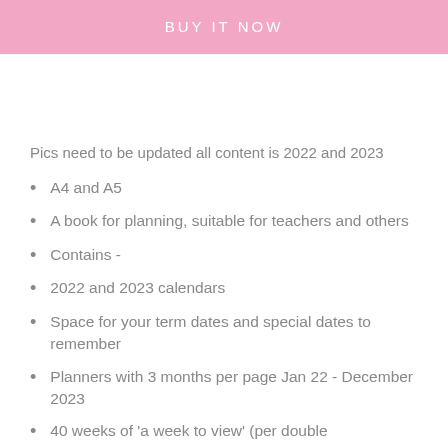[Figure (other): Pink 'BUY IT NOW' button banner at top of page]
Pics need to be updated all content is 2022 and 2023
A4 and A5
A book for planning, suitable for teachers and others
Contains -
2022 and 2023 calendars
Space for your term dates and special dates to remember
Planners with 3 months per page Jan 22 - December 2023
40 weeks of 'a week to view' (per double